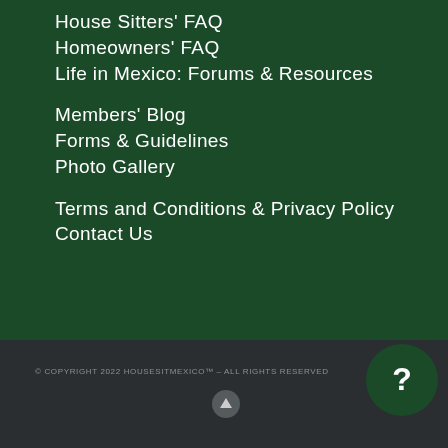House Sitters' FAQ
Homeowners' FAQ
Life in Mexico: Forums & Resources
Members' Blog
Forms & Guidelines
Photo Gallery
Terms and Conditions & Privacy Policy
Contact Us
© COPYRIGHT 2022 HOUSESITMEXICO™ – ALL RIGHTS RESERVED